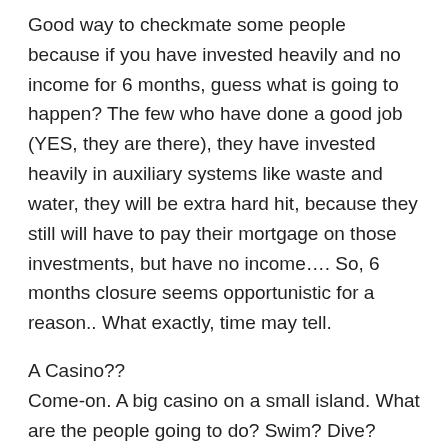Good way to checkmate some people because if you have invested heavily and no income for 6 months, guess what is going to happen? The few who have done a good job (YES, they are there), they have invested heavily in auxiliary systems like waste and water, they will be extra hard hit, because they still will have to pay their mortgage on those investments, but have no income…. So, 6 months closure seems opportunistic for a reason.. What exactly, time may tell.
A Casino??
Come-on. A big casino on a small island. What are the people going to do? Swim? Dive? Sail? Unlikely….., they want to gamble. And a casino is a very heavy environmental load. Transport